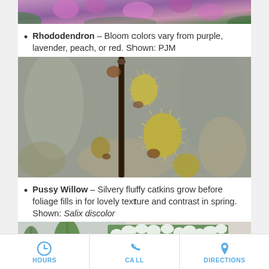[Figure (photo): Partial view of pink/purple rhododendron flowers at the top of the page]
Rhododendron – Bloom colors vary from purple, lavender, peach, or red. Shown: PJM
[Figure (photo): Close-up photo of pussy willow catkins with yellow-green fluffy stamens on a branch against a blurred background]
Pussy Willow – Silvery fluffy catkins grow before foliage fills in for lovely texture and contrast in spring. Shown: Salix discolor
[Figure (photo): Photo of a garden or nursery scene with green shrubs and trees against a building]
HOURS   CALL   DIRECTIONS